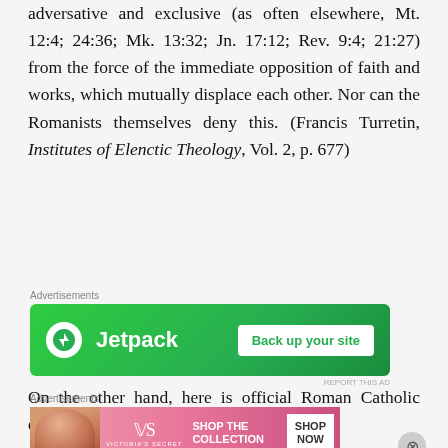adversative and exclusive (as often elsewhere, Mt. 12:4; 24:36; Mk. 13:32; Jn. 17:12; Rev. 9:4; 21:27) from the force of the immediate opposition of faith and works, which mutually displace each other. Nor can the Romanists themselves deny this. (Francis Turretin, Institutes of Elenctic Theology, Vol. 2, p. 677)
[Figure (other): Jetpack advertisement banner: green background with Jetpack logo and 'Back up your site' button]
On the other hand, here is official Roman Catholic doctrine which places a curse on this
[Figure (other): Victoria's Secret advertisement banner with model photo, VS logo, 'SHOP THE COLLECTION' text and 'SHOP NOW' button on pink background]